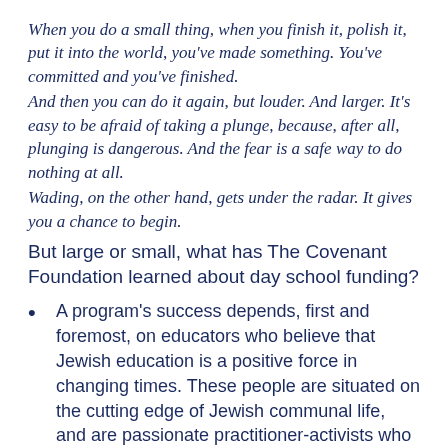When you do a small thing, when you finish it, polish it, put it into the world, you've made something. You've committed and you've finished. And then you can do it again, but louder. And larger. It's easy to be afraid of taking a plunge, because, after all, plunging is dangerous. And the fear is a safe way to do nothing at all. Wading, on the other hand, gets under the radar. It gives you a chance to begin.
But large or small, what has The Covenant Foundation learned about day school funding?
A program's success depends, first and foremost, on educators who believe that Jewish education is a positive force in changing times. These people are situated on the cutting edge of Jewish communal life, and are passionate practitioner-activists who do not accept the status quo. Their actions show that they are ready to take risks, to push back